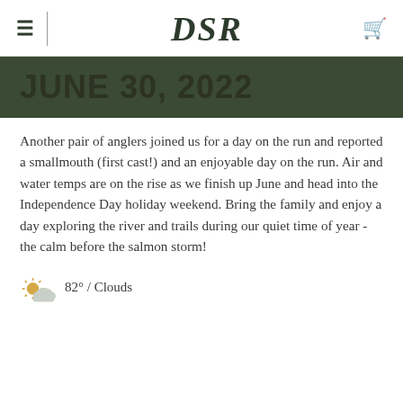DSR
JUNE 30, 2022
Another pair of anglers joined us for a day on the run and reported a smallmouth (first cast!) and an enjoyable day on the run. Air and water temps are on the rise as we finish up June and head into the Independence Day holiday weekend. Bring the family and enjoy a day exploring the river and trails during our quiet time of year - the calm before the salmon storm!
82° / Clouds